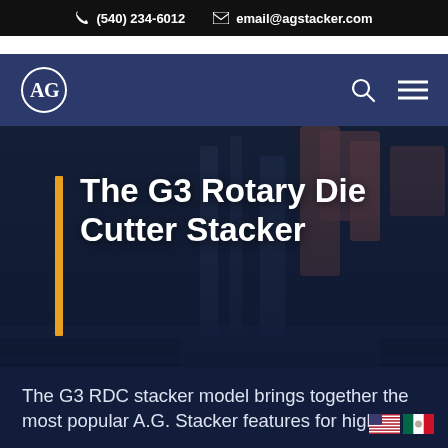☎ (540) 234-6012   ✉ email@agstacker.com
[Figure (logo): AG Stacker circular logo in white on navy background navigation bar with search and menu icons]
The G3 Rotary Die Cutter Stacker
The G3 RDC stacker model brings together the most popular A.G. Stacker features for high
[Figure (photo): Dark industrial machinery background with blue overlay tones]